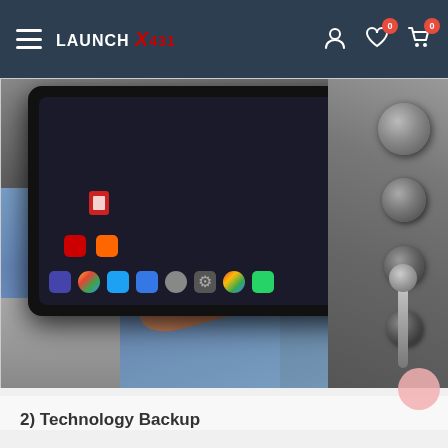Launch X431 — navigation bar with hamburger menu, logo, user icon, wishlist (0), cart (0)
[Figure (photo): A person sitting in a car holding a large tablet/diagnostic device (Launch X431). The tablet screen shows an Android-style home screen with app icons. The car interior shows dials and a gear shift on the right side.]
2) Technology Backup